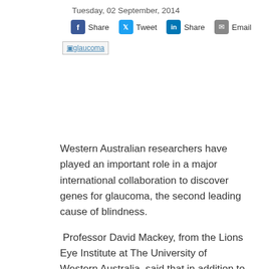Tuesday, 02 September, 2014
[Figure (infographic): Social sharing bar with Facebook Share, Twitter Tweet, LinkedIn Share, and Email buttons]
[Figure (photo): Broken image placeholder labeled 'glaucoma']
Western Australian researchers have played an important role in a major international collaboration to discover genes for glaucoma, the second leading cause of blindness.
Professor David Mackey, from the Lions Eye Institute at The University of Western Australia, said that in addition to helping predict those at risk of